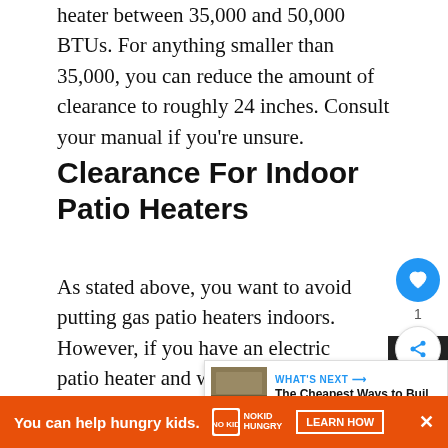heater between 35,000 and 50,000 BTUs. For anything smaller than 35,000, you can reduce the amount of clearance to roughly 24 inches. Consult your manual if you're unsure.
Clearance For Indoor Patio Heaters
As stated above, you want to avoid putting gas patio heaters indoors. However, if you have an electric patio heater and want to install it indoors, this can be okay. However, indoor patio heaters have a more complicated formula for determining clearance. The contributing factors include: